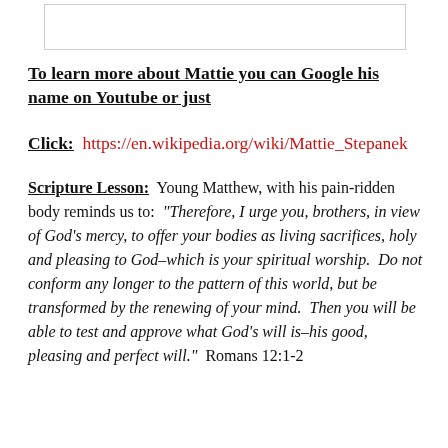[Figure (other): A rectangular image placeholder box at the top of the page]
To learn more about Mattie you can Google his name on Youtube or just
Click:  https://en.wikipedia.org/wiki/Mattie_Stepanek
Scripture Lesson:  Young Matthew, with his pain-riddled body reminds us to:  “Therefore, I urge you, brothers, in view of God’s mercy, to offer your bodies as living sacrifices, holy and pleasing to God–which is your spiritual worship.  Do not conform any longer to the pattern of this world, but be transformed by the renewing of your mind.  Then you will be able to test and approve what God’s will is–his good, pleasing and perfect will.”  Romans 12:1-2